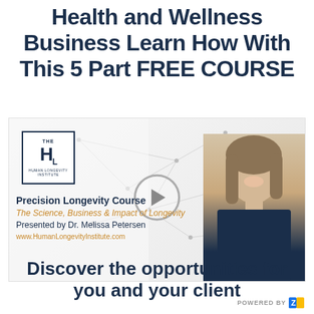Health and Wellness Business Learn How With This 5 Part FREE COURSE
[Figure (screenshot): Video thumbnail showing the Human Longevity Institute logo, a network/constellation background graphic, a video play button, and a woman (Dr. Melissa Petersen) smiling. Text overlay reads: 'Precision Longevity Course / The Science, Business & Impact of Longevity / Presented by Dr. Melissa Petersen / www.HumanLongevityInstitute.com']
Discover the opportunities for you and your client
POWERED BY